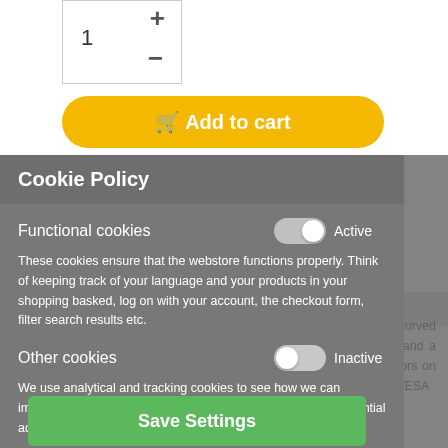[Figure (screenshot): Quantity selector box with + and - buttons showing value 1]
[Figure (screenshot): Yellow 'Add to cart' button with shopping cart icon]
Cookie Policy
Functional cookies
Active
These cookies ensure that the webstore functions properly. Think of keeping track of your language and your products in your shopping basked, log on with your account, the checkout form, filter search results etc.
Other cookies
Inactive
We use analytical and tracking cookies to see how we can improve the webstore and how we can adapt content and potential advertisements to your preference.
[Figure (screenshot): Green 'Save Settings' button]
Introduction
Immerse yourself in the gaming world with a Nitro XZ2 curved monitor. Enjoy seamless gameplay with Radeon FreeSync and a blazingly fast 165Hz refresh rate, and experience lifelike colors on an FHD VA display with an immersive 1500R curvature and VESA Certified DisplayHDR 400.
Superbly Synced
Eliminate choppy gameplay and distracting visual tear